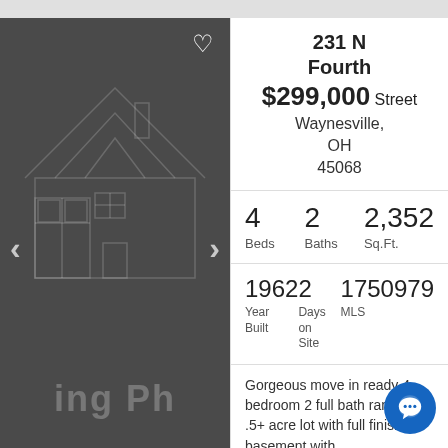[Figure (photo): House listing photo with dark background showing house outline graphic and navigation arrows]
231 N Fourth Street Waynesville, OH 45068
$299,000
| Beds | Baths | Sq.Ft. |
| --- | --- | --- |
| 4 | 2 | 2,352 |
| Year Built | Days on Site | MLS |
| --- | --- | --- |
| 1962 | 2 | 1750979 |
Gorgeous move in ready 4 bedroom 2 full bath ranch on .5+ acre lot with full finished basement with...